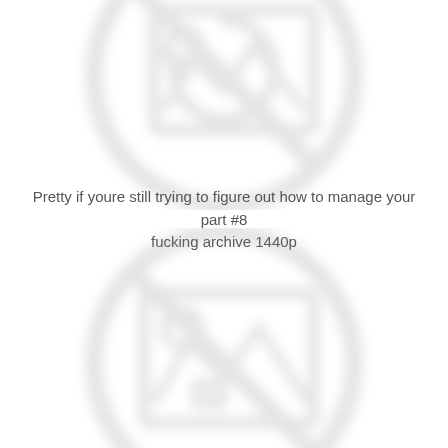[Figure (illustration): Broken/missing image placeholder icon (circle with diagonal line and image symbol), partially visible at top of page, blurred/faded gray]
Pretty if youre still trying to figure out how to manage your part #8 fucking archive 1440p
[Figure (illustration): Broken/missing image placeholder icon (circle with diagonal line and image symbol), partially visible at bottom of page, blurred/faded gray]